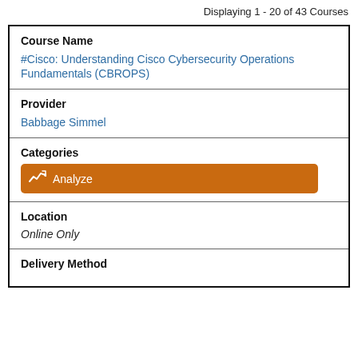Displaying 1 - 20 of 43 Courses
| Course Name | Provider | Categories | Location | Delivery Method |
| --- | --- | --- | --- | --- |
| #Cisco: Understanding Cisco Cybersecurity Operations Fundamentals (CBROPS) |
| Babbage Simmel |
| Analyze |
| Online Only |
| Delivery Method |